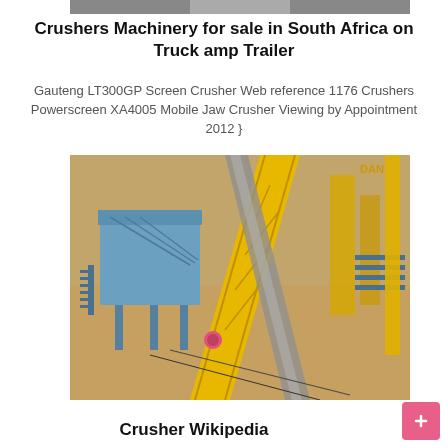[Figure (photo): Top strip of a machinery/crusher image partially visible at the top of the page]
Crushers Machinery for sale in South Africa on Truck amp Trailer
Gauteng LT300GP Screen Crusher Web reference 1176 Crushers Powerscreen XA4005 Mobile Jaw Crusher Viewing by Appointment 2012 }
[Figure (photo): Aerial view of a large industrial crusher and screening machine with yellow conveyor belts and a blue screening unit on sandy/desert ground]
Crusher Wikipedia